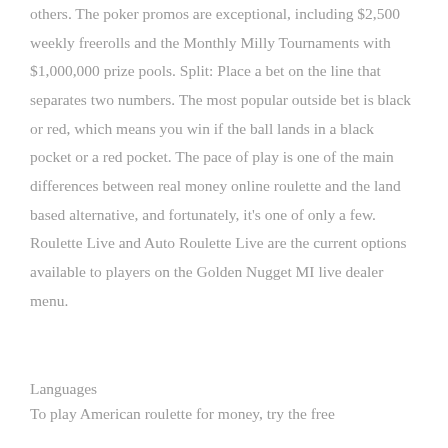others. The poker promos are exceptional, including $2,500 weekly freerolls and the Monthly Milly Tournaments with $1,000,000 prize pools. Split: Place a bet on the line that separates two numbers. The most popular outside bet is black or red, which means you win if the ball lands in a black pocket or a red pocket. The pace of play is one of the main differences between real money online roulette and the land based alternative, and fortunately, it's one of only a few. Roulette Live and Auto Roulette Live are the current options available to players on the Golden Nugget MI live dealer menu.
Languages
To play American roulette for money, try the free